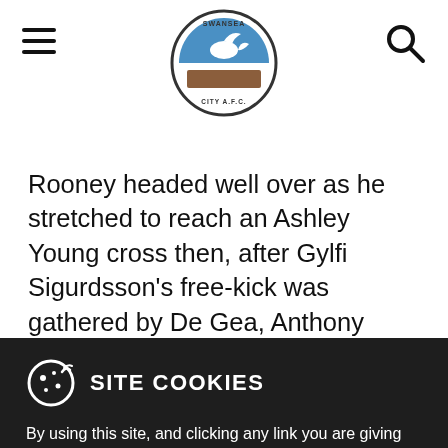Swansea City AFC navigation header with hamburger menu, logo, and search icon
Rooney headed well over as he stretched to reach an Ashley Young cross then, after Gylfi Sigurdsson's free-kick was gathered by De Gea, Anthony Martial conjured a big chance
SITE COOKIES
By using this site, and clicking any link you are giving consent to us to set cookies.
Accept & Close
Find Out More